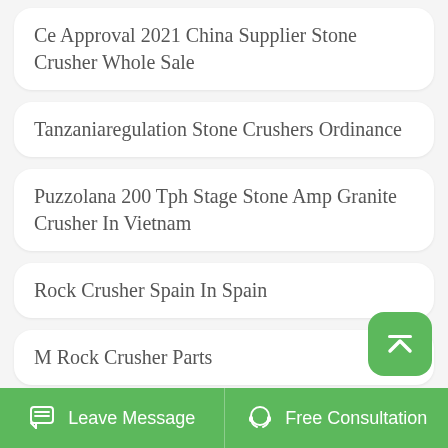Ce Approval 2021 China Supplier Stone Crusher Whole Sale
Tanzaniaregulation Stone Crushers Ordinance
Puzzolana 200 Tph Stage Stone Amp Granite Crusher In Vietnam
Rock Crusher Spain In Spain
M Rock Crusher Parts
Portable Stone Crushers Address Guwahati
Leave Message   Free Consultation